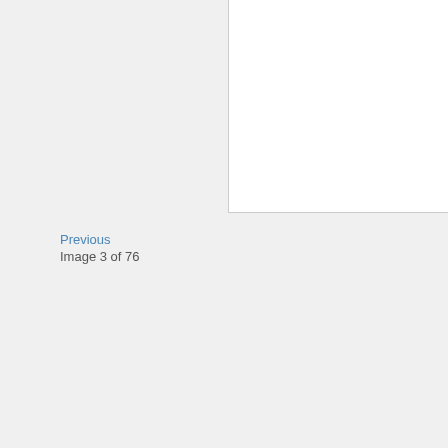[Figure (other): White panel in upper right portion of the page, representing a document/image viewer area]
Previous
Image 3 of 76